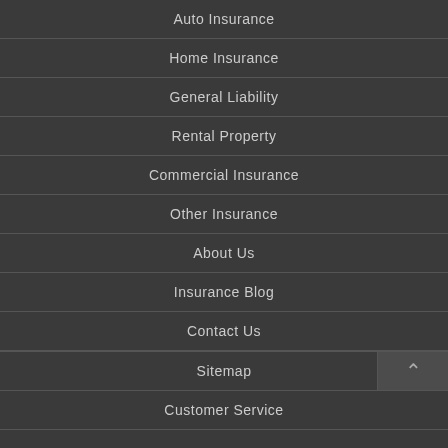Auto Insurance
Home Insurance
General Liability
Rental Property
Commercial Insurance
Other Insurance
About Us
Insurance Blog
Contact Us
Sitemap
Customer Service